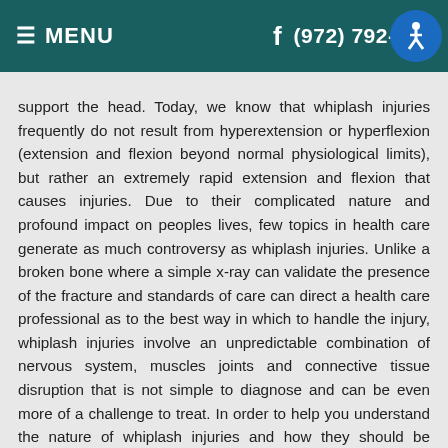≡ MENU    f    (972) 792-[...]4
support the head. Today, we know that whiplash injuries frequently do not result from hyperextension or hyperflexion (extension and flexion beyond normal physiological limits), but rather an extremely rapid extension and flexion that causes injuries. Due to their complicated nature and profound impact on peoples lives, few topics in health care generate as much controversy as whiplash injuries. Unlike a broken bone where a simple x-ray can validate the presence of the fracture and standards of care can direct a health care professional as to the best way in which to handle the injury, whiplash injuries involve an unpredictable combination of nervous system, muscles joints and connective tissue disruption that is not simple to diagnose and can be even more of a challenge to treat. In order to help you understand the nature of whiplash injuries and how they should be treated, it is necessary to spend a bit of time discussing the mechanics of how whiplash injuries occur. The Four Phases of a Whiplash Injury During a rear-end automobile collision, your body goes through an extremely rapid and intense acceleration and deceleration. In fact, all four phases of a whiplash injury occur in less than one-half of a second! At each phase, there is a different force acting on the body that contributes to the overall injury, and with such a sudden and forceful movement, damage to the vertebrae, nerves, discs, muscles, and ligaments of your neck